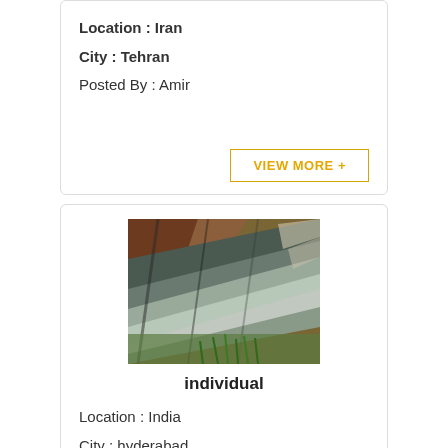Location : Iran
City : Tehran
Posted By : Amir
VIEW MORE +
[Figure (photo): Photo of layered rock formation with grass at the bottom, showing brown, grey, and greenish mineral layers]
individual
Location : India
City : hyderabad